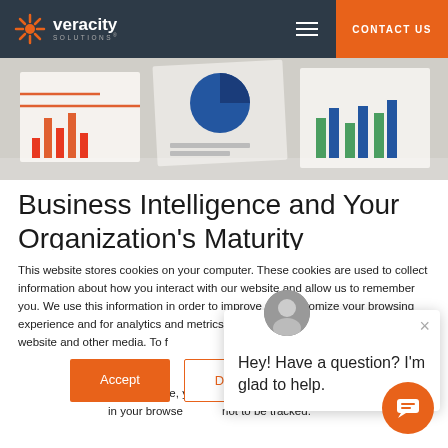veracity SOLUTIONS® — CONTACT US
[Figure (photo): Hero image showing printed business intelligence charts and graphs on paper, with bar charts and pie charts visible in blue, green, and red/orange colors.]
Business Intelligence and Your Organization's Maturity
This website stores cookies on your computer. These cookies are used to collect information about how you interact with our website and allow us to remember you. We use this information in order to improve and customize your browsing experience and for analytics and metrics about our visitors both on this website and other media. To find out more about the cookies we use, see our Privacy Policy.
If you decline, your information won't be tracked when you visit this website. A single cookie will be used in your browser to remember your preference not to be tracked.
Hey! Have a question? I'm glad to help.
Accept
Decline